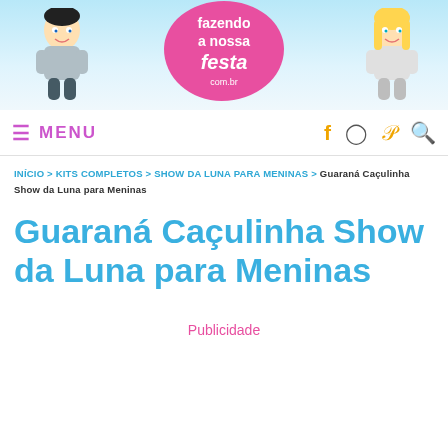[Figure (illustration): Website banner for 'Fazendo a Nossa Festa' blog. Shows cartoon boy on left and cartoon girl on right, with a pink badge in the center reading 'fazendo a nossa festa' on a light blue background.]
≡ MENU | f ⊙ P 🔍
INÍCIO > KITS COMPLETOS > SHOW DA LUNA PARA MENINAS > Guaraná Caçulinha Show da Luna para Meninas
Guaraná Caçulinha Show da Luna para Meninas
Publicidade